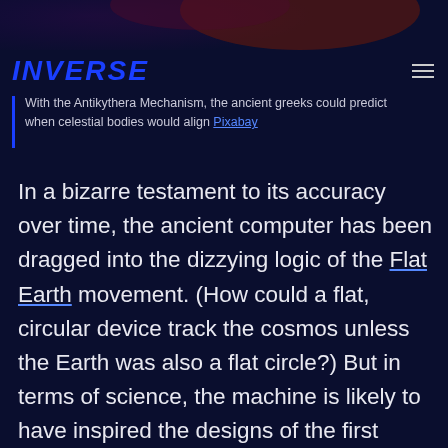[Figure (photo): Dark atmospheric background image with purple and red tones at the top of the page]
INVERSE
With the Antikythera Mechanism, the ancient greeks could predict when celestial bodies would align Pixabay
In a bizarre testament to its accuracy over time, the ancient computer has been dragged into the dizzying logic of the Flat Earth movement. (How could a flat, circular device track the cosmos unless the Earth was also a flat circle?) But in terms of science, the machine is likely to have inspired the designs of the first mechanical clocks. And with some proposals for NASA rovers to eschew electronics for pneumatic or other mechanical components, we might someday build modern versions of the Antikythera Mechanism and blast them into space.